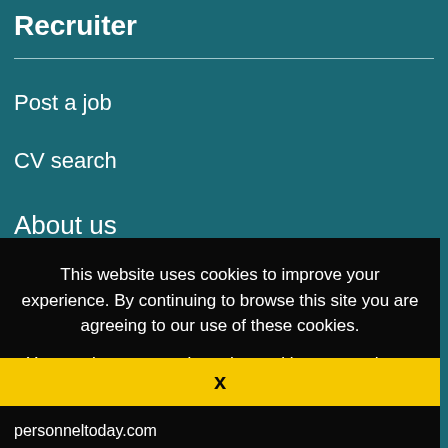Recruiter
Post a job
CV search
About us
This website uses cookies to improve your experience. By continuing to browse this site you are agreeing to our use of these cookies.
You can learn more about the cookies we use here.
x
personneltoday.com